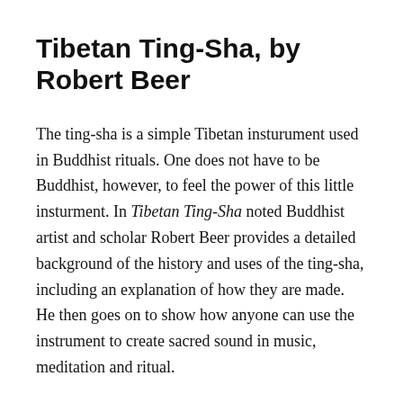Tibetan Ting-Sha, by Robert Beer
The ting-sha is a simple Tibetan insturument used in Buddhist rituals. One does not have to be Buddhist, however, to feel the power of this little insturment. In Tibetan Ting-Sha noted Buddhist artist and scholar Robert Beer provides a detailed background of the history and uses of the ting-sha, including an explanation of how they are made. He then goes on to show how anyone can use the instrument to create sacred sound in music, meditation and ritual.